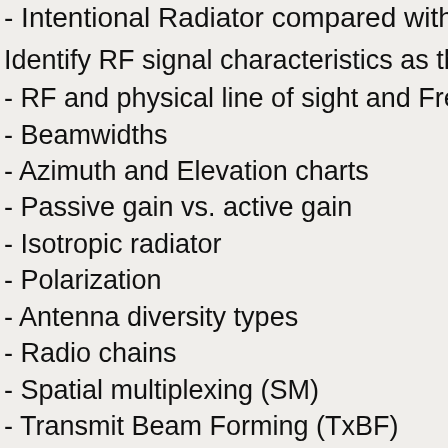- Intentional Radiator compared with Equiv...
Identify RF signal characteristics as they r...
- RF and physical line of sight and Fresnel...
- Beamwidths
- Azimuth and Elevation charts
- Passive gain vs. active gain
- Isotropic radiator
- Polarization
- Antenna diversity types
- Radio chains
- Spatial multiplexing (SM)
- Transmit Beam Forming (TxBF)
- Maximal Ratio Combining (MRC)
- MIMO and MU-MIMO
Explain and apply the functionality of RF a... mounting options and antenna accessories...
- Omni-directional antennas
- Semi-directional antennas
- Highly directional antennas